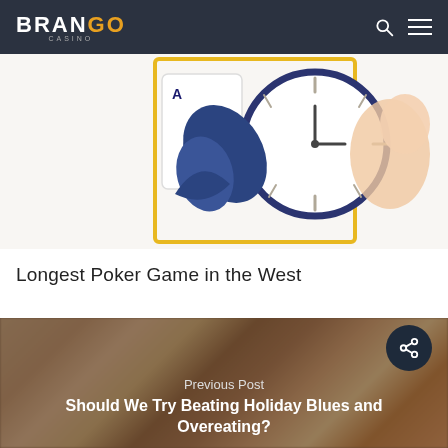BRANGO CASINO
[Figure (illustration): Illustration of a clock with playing cards, leaves, and decorative elements against a light background with a yellow border frame.]
Longest Poker Game in the West
[Figure (photo): Blurred photo of holiday food/desserts with red and white decorative elements in the background.]
Previous Post
Should We Try Beating Holiday Blues and Overeating?